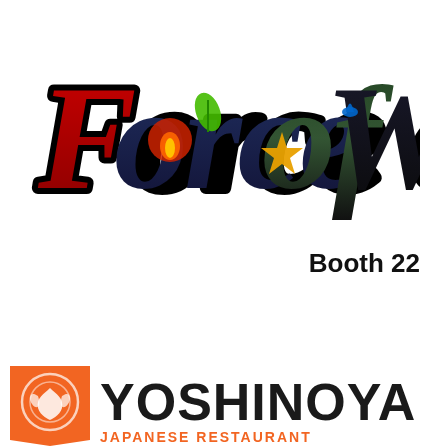[Figure (logo): Force of Will trading card game logo with stylized gothic lettering, featuring colorful elemental symbols (fire, nature, earth, water) integrated into the letters, with black outline and multi-color gradient fill including red, blue, green, and gold.]
Booth 22
[Figure (logo): Yoshinoya logo: orange triangle/shield shape on the left with a white decorative emblem, followed by bold black text 'YOSHINOYA' and orange text below partially visible.]